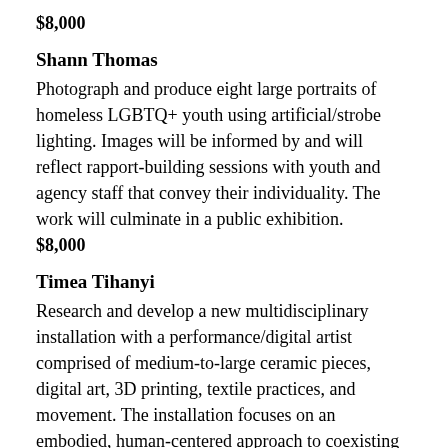$8,000
Shann Thomas
Photograph and produce eight large portraits of homeless LGBTQ+ youth using artificial/strobe lighting. Images will be informed by and will reflect rapport-building sessions with youth and agency staff that convey their individuality. The work will culminate in a public exhibition.
$8,000
Timea Tihanyi
Research and develop a new multidisciplinary installation with a performance/digital artist comprised of medium-to-large ceramic pieces, digital art, 3D printing, textile practices, and movement. The installation focuses on an embodied, human-centered approach to coexisting with technology. The work will culminate in a public gallery exhibition with Spanish subtitles.
$8,000
Adrienne von Wolffersdorff
Film and edit five videos consisting of 5-minute conversational interviews with a machine/digital artist and...